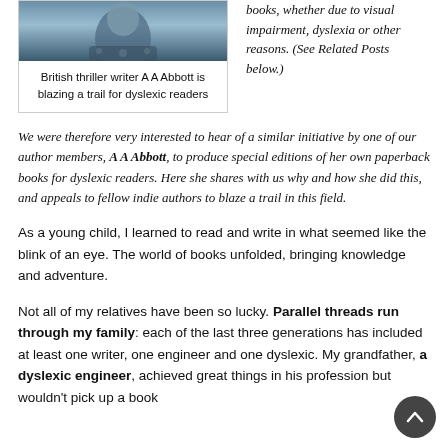[Figure (photo): Photo of British thriller writer A A Abbott, partially cropped at top]
British thriller writer A A Abbott is blazing a trail for dyslexic readers
books, whether due to visual impairment, dyslexia or other reasons. (See Related Posts below.)
We were therefore very interested to hear of a similar initiative by one of our author members, A A Abbott, to produce special editions of her own paperback books for dyslexic readers. Here she shares with us why and how she did this, and appeals to fellow indie authors to blaze a trail in this field.
As a young child, I learned to read and write in what seemed like the blink of an eye. The world of books unfolded, bringing knowledge and adventure.
Not all of my relatives have been so lucky. Parallel threads run through my family: each of the last three generations has included at least one writer, one engineer and one dyslexic. My grandfather, a dyslexic engineer, achieved great things in his profession but wouldn't pick up a book